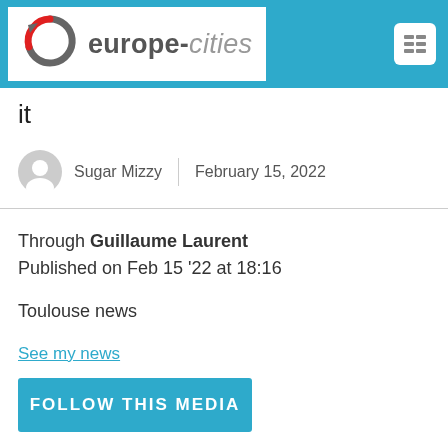[Figure (logo): europe-cities logo with circular arrow icon in grey/red, text 'europe-cities' in grey and italic]
it
Sugar Mizzy  |  February 15, 2022
Through Guillaume Laurent
Published on Feb 15 '22 at 18:16
Toulouse news
See my news
FOLLOW THIS MEDIA